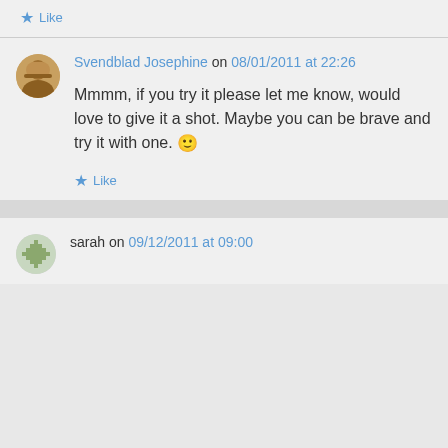Like
Svendblad Josephine on 08/01/2011 at 22:26
Mmmm, if you try it please let me know, would love to give it a shot. Maybe you can be brave and try it with one. 🙂
Like
sarah on 09/12/2011 at 09:00